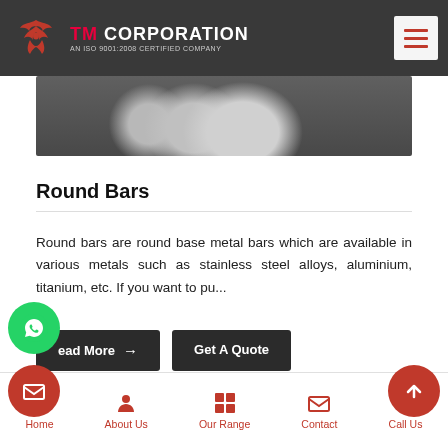TM CORPORATION — AN ISO 9001:2008 CERTIFIED COMPANY
[Figure (photo): Industrial round metal bars/rods stacked together, grey metallic cylinders viewed from the end]
Round Bars
Round bars are round base metal bars which are available in various metals such as stainless steel alloys, aluminium, titanium, etc. If you want to pu...
Read More → | Get A Quote
[Figure (photo): Another industrial metal product image partially visible at bottom]
Home | About Us | Our Range | Contact | Call Us